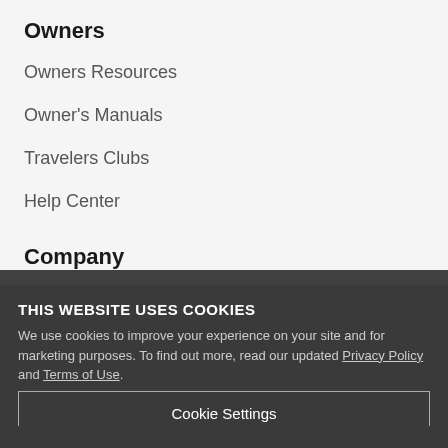Owners
Owners Resources
Owner's Manuals
Travelers Clubs
Help Center
Company
Contact
About
Careers
LTV Blog
THIS WEBSITE USES COOKIES
We use cookies to improve your experience on your site and for marketing purposes. To find out more, read our updated Privacy Policy and Terms of Use.
Cookie Settings
Accept All Cookies